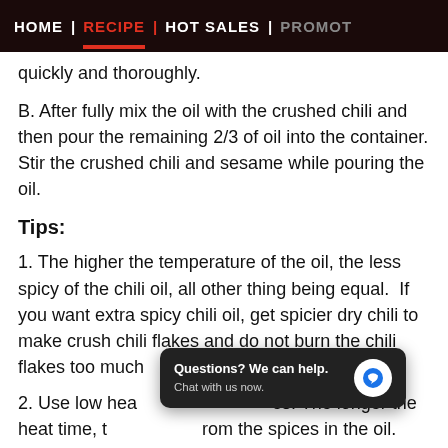HOME | RECIPE | HOT SALES | PROMOT
quickly and thoroughly.
B. After fully mix the oil with the crushed chili and then pour the remaining 2/3 of oil into the container. Stir the crushed chili and sesame while pouring the oil.
Tips:
1. The higher the temperature of the oil, the less spicy of the chili oil, all other thing being equal.  If you want extra spicy chili oil, get spicier dry chili to make crush chili flakes and do not burn the chili flakes too much
2. Use low heat ... es. The longer the heat time, t ... rom the spices in the oil. However, do not burn the spices
[Figure (screenshot): Chat popup widget: 'Questions? We can help. Chat with us now.' with blue chat bubble icon on dark background]